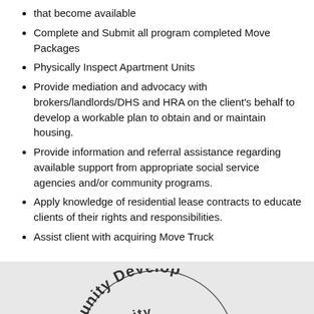that become available
Complete and Submit all program completed Move Packages
Physically Inspect Apartment Units
Provide mediation and advocacy with brokers/landlords/DHS and HRA on the client's behalf to develop a workable plan to obtain and or maintain housing.
Provide information and referral assistance regarding available support from appropriate social service agencies and/or community programs.
Apply knowledge of residential lease contracts to educate clients of their rights and responsibilities.
Assist client with acquiring Move Truck
[Figure (logo): Community Development organization logo — partial arc text reading 'mmunity Develop' and 'mmunity' with green and orange graphic elements at bottom of page]